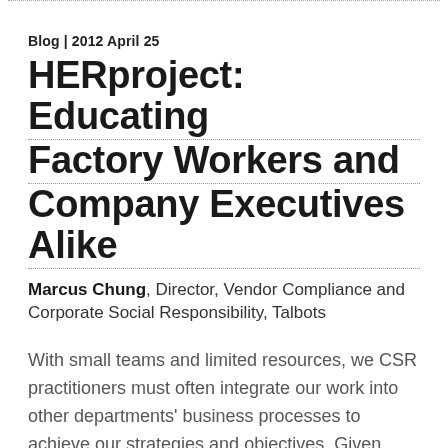Blog | 2012 April 25
HERproject: Educating Factory Workers and Company Executives Alike
Marcus Chung, Director, Vendor Compliance and Corporate Social Responsibility, Talbots
With small teams and limited resources, we CSR practitioners must often integrate our work into other departments' business processes to achieve our strategies and objectives. Given that, one of the most important parts of my job is to educate other Talbots departments and colleagues about